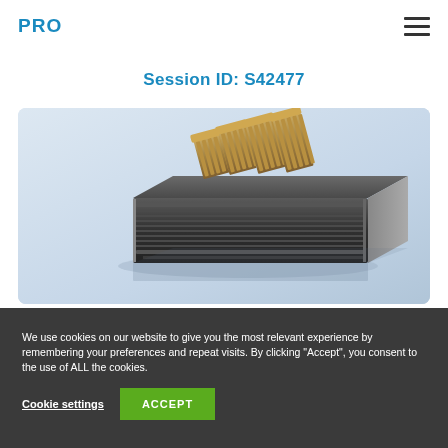PRO
Session ID: S42477
[Figure (photo): High-performance server or computing module with multiple copper-colored heat sink connectors on top, shown at an angle on a light blue-grey background. The device is a dark-colored rectangular rack unit.]
We use cookies on our website to give you the most relevant experience by remembering your preferences and repeat visits. By clicking "Accept", you consent to the use of ALL the cookies.
Cookie settings   ACCEPT